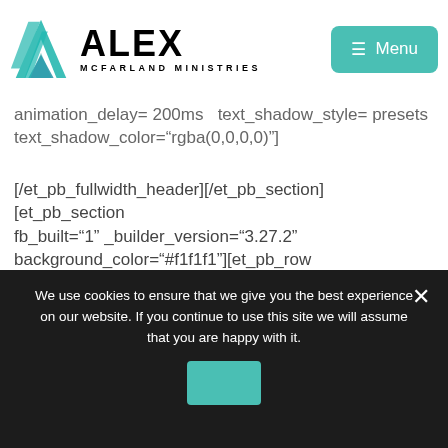[Figure (logo): Alex McFarland Ministries logo with teal geometric arrow/A shape and bold text 'ALEX' and 'MCFARLAND MINISTRIES']
[Figure (screenshot): Menu button — teal rounded rectangle with hamburger icon and 'Menu' label]
animation_delay= 200ms  text_shadow_style= presets text_shadow_color="rgba(0,0,0,0)"]
[/et_pb_fullwidth_header][/et_pb_section][et_pb_section fb_built="1" _builder_version="3.27.2" background_color="#f1f1f1"][et_pb_row
We use cookies to ensure that we give you the best experience on our website. If you continue to use this site we will assume that you are happy with it.